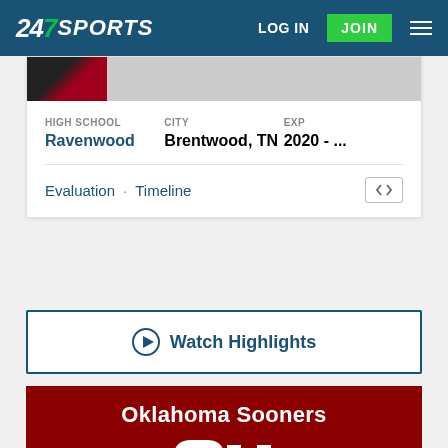247 SPORTS — LOG IN | JOIN
HIGH SCHOOL
Ravenwood

CITY
Brentwood, TN

EXP
2020 - ...
Evaluation · Timeline
Watch Highlights
Oklahoma Sooners
[Figure (logo): Oklahoma Sooners OU interlocking logo in white on crimson background]